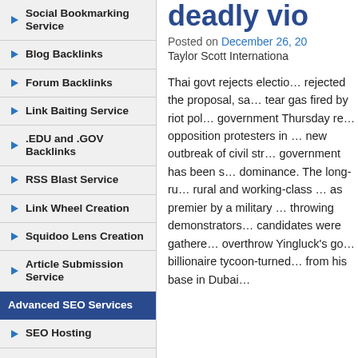Social Bookmarking Service
Blog Backlinks
Forum Backlinks
Link Baiting Service
.EDU and .GOV Backlinks
RSS Blast Service
Link Wheel Creation
Squidoo Lens Creation
Article Submission Service
Advanced SEO Services
SEO Hosting
Free SEO Report
Keyword Research
deadly vio…
Posted on December 26, 20…
Taylor Scott Internationa…
Thai govt rejects electio… rejected the proposal, sa… tear gas fired by riot pol… government Thursday re… opposition protesters in … new outbreak of civil str… government has been s… dominance. The long-ru… rural and working-class … as premier by a military … throwing demonstrators… candidates were gathere… overthrow Yingluck's go… billionaire tycoon-turned… from his base in Dubai…